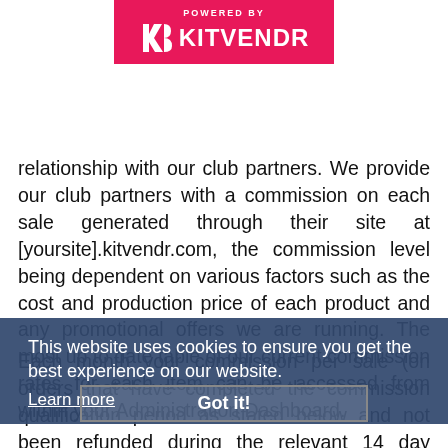[Figure (logo): KitVendr logo banner with pink/red background, 'POWERED BY' text above and KitVendr logo with icon below]
relationship with our club partners. We provide our club partners with a commission on each sale generated through their site at [yoursite].kitvendr.com, the commission level being dependent on various factors such as the cost and production price of each product and any promotional offers we are running. The most up to date table of our current commission rates for each item can be accessed from within your Administration Dashboard.
This website uses cookies to ensure you get the best experience on our website.
Learn more
Each month your commission per sale (on orders that have completed the commission qualification period as stated below and not been refunded during the relevant 14 day returns window) are totalled up and
Got it!